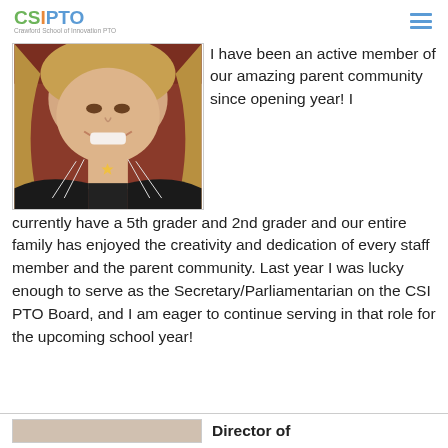CSI PTO
[Figure (photo): Close-up photo of a woman with blonde hair, smiling, wearing a black top with beaded necklace and a gold star necklace]
I have been an active member of our amazing parent community since opening year! I currently have a 5th grader and 2nd grader and our entire family has enjoyed the creativity and dedication of every staff member and the parent community. Last year I was lucky enough to serve as the Secretary/Parliamentarian on the CSI PTO Board, and I am eager to continue serving in that role for the upcoming school year!
Director of